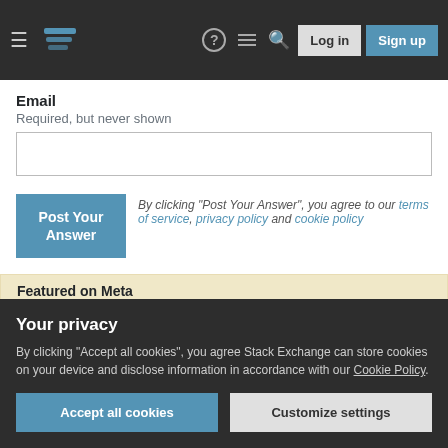Stack Exchange navigation bar with Log in and Sign up buttons
Email
Required, but never shown
Post Your Answer — By clicking "Post Your Answer", you agree to our terms of service, privacy policy and cookie policy
Featured on Meta
Google Analytics 4 (GA4) upgrade
Your privacy
By clicking "Accept all cookies", you agree Stack Exchange can store cookies on your device and disclose information in accordance with our Cookie Policy.
Accept all cookies   Customize settings
break